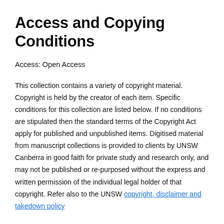Access and Copying Conditions
Access: Open Access
This collection contains a variety of copyright material. Copyright is held by the creator of each item. Specific conditions for this collection are listed below. If no conditions are stipulated then the standard terms of the Copyright Act apply for published and unpublished items. Digitised material from manuscript collections is provided to clients by UNSW Canberra in good faith for private study and research only, and may not be published or re-purposed without the express and written permission of the individual legal holder of that copyright. Refer also to the UNSW copyright, disclaimer and takedown policy